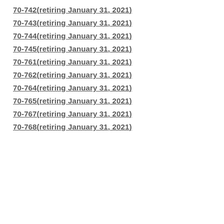70-742(retiring January 31, 2021)
70-743(retiring January 31, 2021)
70-744(retiring January 31, 2021)
70-745(retiring January 31, 2021)
70-761(retiring January 31, 2021)
70-762(retiring January 31, 2021)
70-764(retiring January 31, 2021)
70-765(retiring January 31, 2021)
70-767(retiring January 31, 2021)
70-768(retiring January 31, 2021)